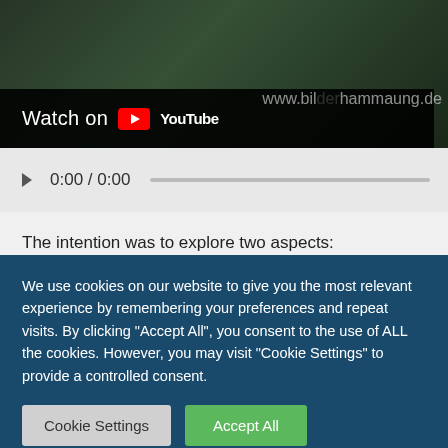[Figure (screenshot): YouTube video thumbnail showing people in green jackets/suits, with 'Watch on YouTube' bar and website watermark www.bilderhammaung.de]
0:00 / 0:00
The intention was to explore two aspects:
1. Was it just a normal, burning meteorite, or something else?
2. Did the event have something to do with the asteroid "2012 DA14" the same day?
We use cookies on our website to give you the most relevant experience by remembering your preferences and repeat visits. By clicking "Accept All", you consent to the use of ALL the cookies. However, you may visit "Cookie Settings" to provide a controlled consent.